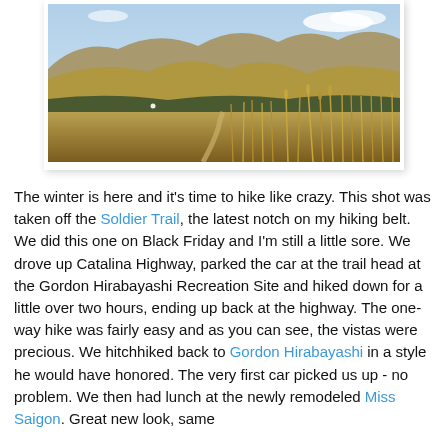[Figure (photo): Landscape photo taken from Soldier Trail showing rolling desert mountains with dry golden grasses in the foreground, scrubby low vegetation on hillsides, a trail path visible, and mountains with light clouds in the background.]
The winter is here and it's time to hike like crazy. This shot was taken off the Soldier Trail, the latest notch on my hiking belt. We did this one on Black Friday and I'm still a little sore. We drove up Catalina Highway, parked the car at the trail head at the Gordon Hirabayashi Recreation Site and hiked down for a little over two hours, ending up back at the highway. The one-way hike was fairly easy and as you can see, the vistas were precious. We hitchhiked back to Gordon Hirabayashi in a style he would have honored. The very first car picked us up - no problem. We then had lunch at the newly remodeled Miss Saigon. Great new look, same